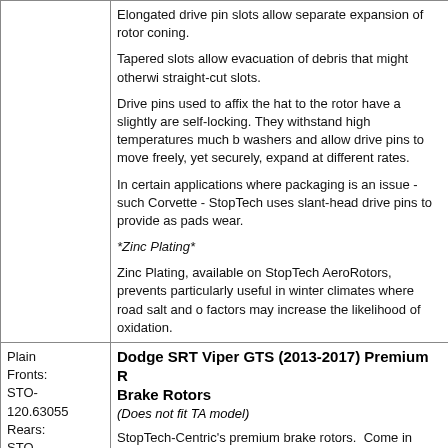| Plain Fronts: STO-120.63055 Rears: STO-120.63056 Slotted | Elongated drive pin slots allow separate expansion of rotor coning.

Tapered slots allow evacuation of debris that might otherwise straight-cut slots.

Drive pins used to affix the hat to the rotor have a slightly d are self-locking. They withstand high temperatures much b washers and allow drive pins to move freely, yet securely, expand at different rates.

In certain applications where packaging is an issue - such Corvette - StopTech uses slant-head drive pins to provide as pads wear.

*Zinc Plating*

Zinc Plating, available on StopTech AeroRotors, prevents particularly useful in winter climates where road salt and o factors may increase the likelihood of oxidation. |
| Plain Fronts: STO-120.63055 Rears: STO-120.63056 Slotted | Dodge SRT Viper GTS (2013-2017) Premium Brake Rotors (Does not fit TA model)

StopTech-Centric's premium brake rotors. Come in plain, slo and slotted.
Centric Premium Rotors are blank, 1-piece, direct replaceme factory brake system. They feature Original Equipment spe |